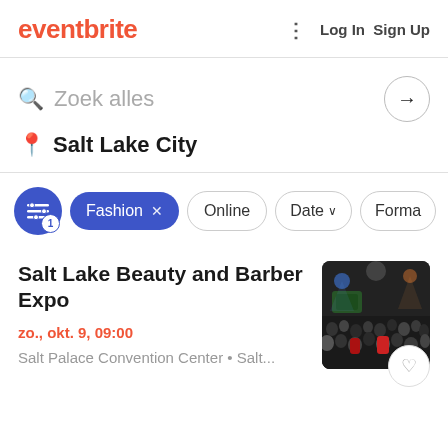eventbrite — Log In  Sign Up
Zoek alles
Salt Lake City
Fashion × | Online | Date ∨ | Forma
Salt Lake Beauty and Barber Expo
zo., okt. 9, 09:00
Salt Palace Convention Center • Salt...
[Figure (photo): Crowded expo hall with people browsing booths, dark venue with stage lighting visible in background.]